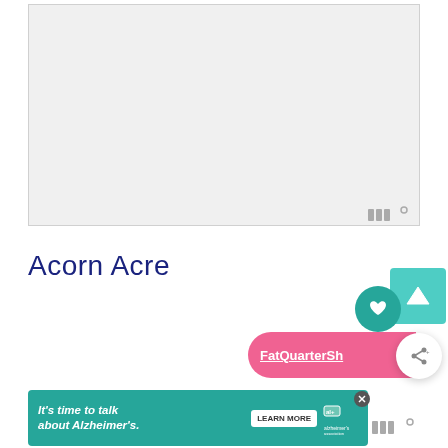[Figure (photo): Large light gray rectangular image placeholder area at top of page]
[Figure (logo): Wordmark logo (WW with degree symbol) in gray, bottom-right of top image]
Acorn Acre
[Figure (other): Teal rounded square button with white triangle/play icon]
[Figure (other): Teal circle button with white heart icon]
[Figure (other): Pink rounded bar with text 'FatQuarterSh' (truncated) and white share circle button with share icon]
[Figure (other): Teal advertisement banner reading 'It's time to talk about Alzheimer's.' with LEARN MORE button and Alzheimer's Association logo, with close X button]
[Figure (logo): Wordmark logo (WW with degree symbol) in gray, bottom-right area]